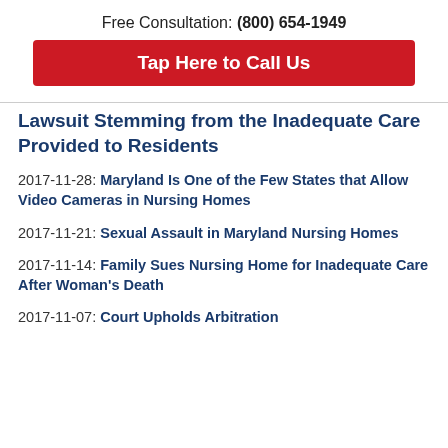Free Consultation: (800) 654-1949
Tap Here to Call Us
Lawsuit Stemming from the Inadequate Care Provided to Residents
2017-11-28: Maryland Is One of the Few States that Allow Video Cameras in Nursing Homes
2017-11-21: Sexual Assault in Maryland Nursing Homes
2017-11-14: Family Sues Nursing Home for Inadequate Care After Woman's Death
2017-11-07: Court Upholds Arbitration